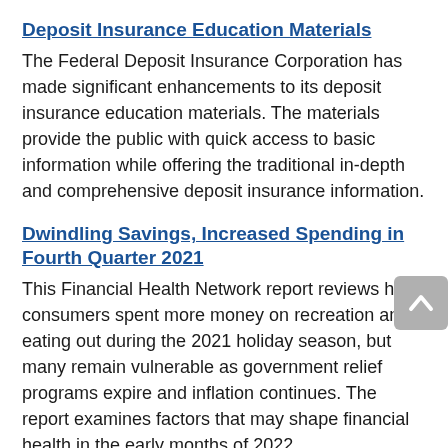Deposit Insurance Education Materials
The Federal Deposit Insurance Corporation has made significant enhancements to its deposit insurance education materials. The materials provide the public with quick access to basic information while offering the traditional in-depth and comprehensive deposit insurance information.
Dwindling Savings, Increased Spending in Fourth Quarter 2021
This Financial Health Network report reviews how consumers spent more money on recreation and eating out during the 2021 holiday season, but many remain vulnerable as government relief programs expire and inflation continues. The report examines factors that may shape financial health in the early months of 2022.